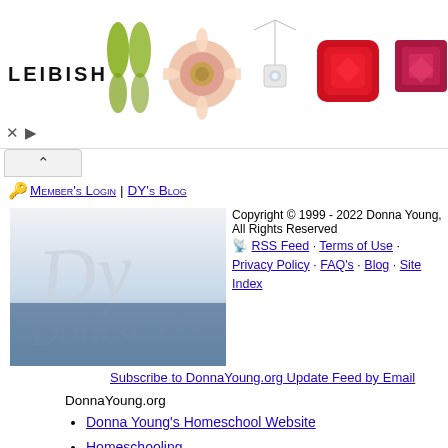[Figure (photo): Leibish advertisement banner showing jewelry and gemstones including green pear-shaped drops, pink floral brooch, diamond pendant necklace, red cushion gemstone, and pink/red square gemstone. LEIBISH logo on left.]
× ▷
^
🔑 Member's Login | DY's Blog
[Figure (logo): DonnaYoung.org logo - cursive/script style logo with blue wave background]
Copyright © 1999 - 2022 Donna Young, All Rights Reserved
RSS Feed · Terms of Use · Privacy Policy · FAQ's · Blog · Site Index
Subscribe to DonnaYoung.org Update Feed by Email
DonnaYoung.org
Donna Young's Homeschool Website
Homeschooling
Homeschool Planner
Household